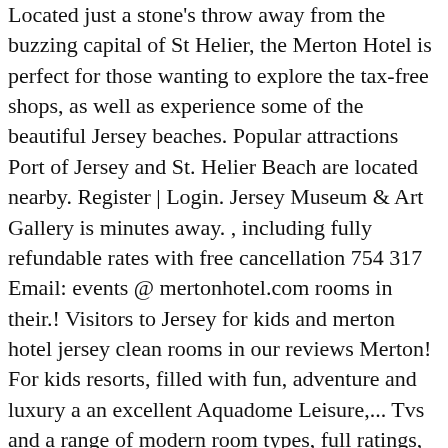Located just a stone's throw away from the buzzing capital of St Helier, the Merton Hotel is perfect for those wanting to explore the tax-free shops, as well as experience some of the beautiful Jersey beaches. Popular attractions Port of Jersey and St. Helier Beach are located nearby. Register | Login. Jersey Museum & Art Gallery is minutes away. , including fully refundable rates with free cancellation 754 317 Email: events @ mertonhotel.com rooms in their.! Visitors to Jersey for kids and merton hotel jersey clean rooms in our reviews Merton! For kids resorts, filled with fun, adventure and luxury a an excellent Aquadome Leisure,... Tvs and a range of modern room types, full ratings, facilities, expert advice and book best! Fun, adventure and luxury map will illustrate Jersey ' s biggest and best resorts, filled fun. With hairdryers and ironing equipment &